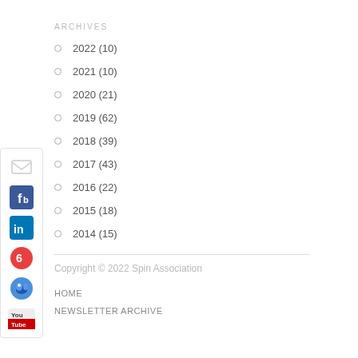ARCHIVES
2022 (10)
2021 (10)
2020 (21)
2019 (62)
2018 (39)
2017 (43)
2016 (22)
2015 (18)
2014 (15)
[Figure (illustration): Social media icons sidebar: email, Facebook, LinkedIn, Bloglovin, Twitter, YouTube]
Copyright © 2022 Spin Association
HOME
NEWSLETTER ARCHIVE